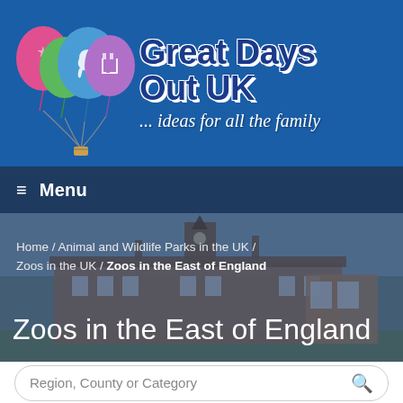[Figure (logo): Great Days Out UK logo with colourful balloons (pink, green, blue, purple) and site name in dark blue bold text with tagline '... ideas for all the family' in white cursive text on a blue background]
≡ Menu
[Figure (photo): Hero image of a large brick manor building with a tower, overlaid with semi-transparent dark blue tint, showing breadcrumb navigation and page title]
Home / Animal and Wildlife Parks in the UK / Zoos in the UK / Zoos in the East of England
Zoos in the East of England
Region, County or Category